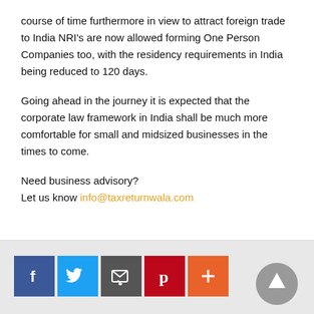course of time furthermore in view to attract foreign trade to India NRI's are now allowed forming One Person Companies too, with the residency requirements in India being reduced to 120 days.
Going ahead in the journey it is expected that the corporate law framework in India shall be much more comfortable for small and midsized businesses in the times to come.
Need business advisory?
Let us know info@taxreturnwala.com
[Figure (other): Social media sharing icons: Facebook (blue), Twitter (light blue), Email (dark grey), Pinterest (red), More/Plus (orange-red), and a scroll-to-top button (grey circle with up arrow)]